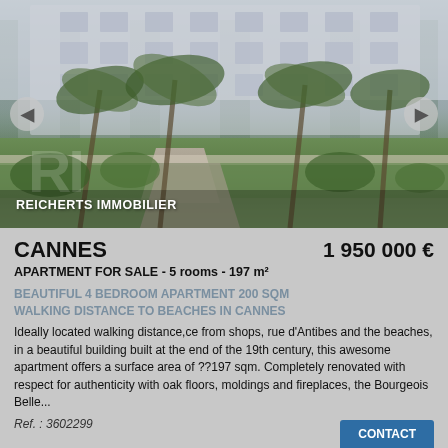[Figure (photo): Exterior photo of a Haussmanian-style building in Cannes with palm trees, manicured gardens, and a lawn in the foreground. Navigation arrows visible on left and right sides.]
REICHERTS IMMOBILIER
CANNES
1 950 000 €
APARTMENT FOR SALE - 5 rooms - 197 m²
BEAUTIFUL 4 BEDROOM APARTMENT 200 SQM WALKING DISTANCE TO BEACHES IN CANNES
Ideally located walking distance,ce from shops, rue d'Antibes and the beaches, in a beautiful building built at the end of the 19th century, this awesome apartment offers a surface area of ??197 sqm. Completely renovated with respect for authenticity with oak floors, moldings and fireplaces, the Bourgeois Belle...
Ref. : 3602299